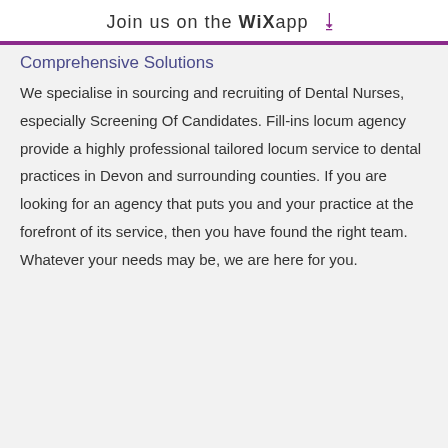Join us on the WiX app ⬇
Comprehensive Solutions
We specialise in sourcing and recruiting of Dental Nurses, especially Screening Of Candidates. Fill-ins locum agency provide a highly professional tailored locum service to dental practices in Devon and surrounding counties. If you are looking for an agency that puts you and your practice at the forefront of its service, then you have found the right team. Whatever your needs may be, we are here for you.